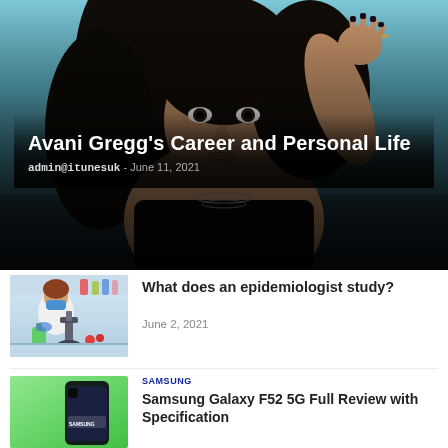[Figure (photo): Young woman with dark curly hair posing with hand raised near face, wearing black graphic t-shirt and necklaces, blue sky background]
Avani Gregg's Career and Personal Life
admin@itunesuk - June 11, 2021
[Figure (photo): Scientist in lab coat and blue gloves looking through microscope with green flask and lab equipment]
What does an epidemiologist study?
June 2, 2021
[Figure (photo): Samsung Galaxy F52 5G phone on green background with Samsung logo]
Samsung Galaxy F52 5G Full Review with Specification